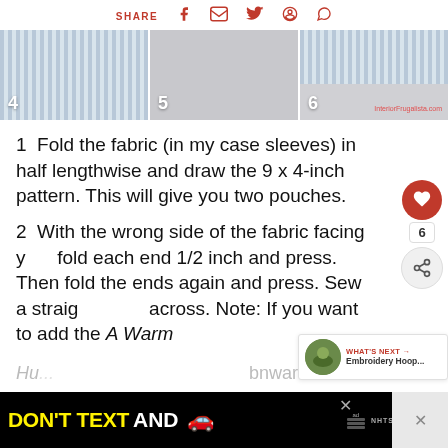SHARE [facebook] [email] [twitter] [pinterest] [whatsapp]
[Figure (photo): Three step photos labeled 4, 5, 6 showing fabric folding steps for a sewing project. Photo 4 shows striped fabric folded, photo 5 shows fabric on surface, photo 6 shows striped fabric edge with InteriorFrugalista.com watermark.]
1  Fold the fabric (in my case sleeves) in half lengthwise and draw the 9 x 4-inch pattern. This will give you two pouches.
2  With the wrong side of the fabric facing you, fold each end 1/2 inch and press. Then fold the ends again and press. Sew a straight stitch across. Note: If you want to add the A Warm Hu...
[Figure (screenshot): Advertisement banner: DON'T TEXT AND [car emoji] with ad badge and NHTSA logo]